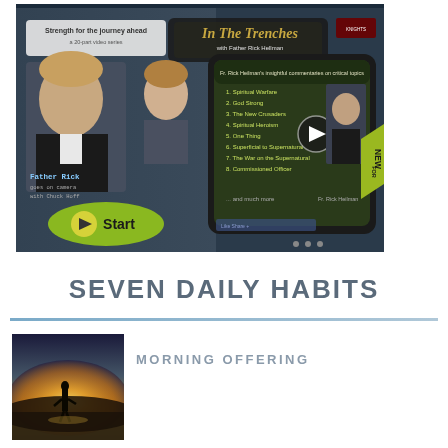[Figure (screenshot): Screenshot of 'In The Trenches with Father Rick Hellman' video series webpage. Shows two men on the left side (Father Rick goes on camera with Chuck Hoff), a green Start button, and a tablet displaying a list of video topics including: 1. Spiritual Warfare, 2. God Strong, 3. The New Crusaders, 4. Spiritual Heroism, 5. One Thing, 6. Superficial to Supernatural, 7. The War on the Supernatural, 8. Commissioned Officer, ...and much more. Fr. Rick Heilman is shown on the right. A 'NEW FOR' badge in yellow-green is visible. Knights of Columbus logo in top right.]
SEVEN DAILY HABITS
[Figure (photo): Photo of a silhouette of a person standing on a hilltop or mountain at sunrise/sunset, with a bright glowing horizon behind them.]
MORNING OFFERING